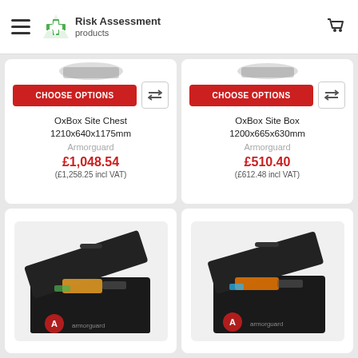Risk Assessment products
CHOOSE OPTIONS
OxBox Site Chest 1210x640x1175mm
Armorguard
£1,048.54
(£1,258.25 incl VAT)
CHOOSE OPTIONS
OxBox Site Box 1200x665x630mm
Armorguard
£510.40
(£612.48 incl VAT)
[Figure (photo): Black metal tool storage box (OxBox) with lid open showing tools inside, Armorguard branding]
[Figure (photo): Black metal tool storage box (OxBox) with lid open showing tools inside, Armorguard branding - smaller size]